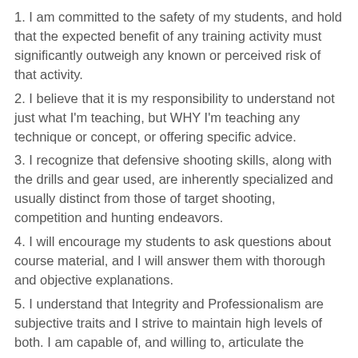1. I am committed to the safety of my students, and hold that the expected benefit of any training activity must significantly outweigh any known or perceived risk of that activity.
2. I believe that it is my responsibility to understand not just what I'm teaching, but WHY I'm teaching any technique or concept, or offering specific advice.
3. I recognize that defensive shooting skills, along with the drills and gear used, are inherently specialized and usually distinct from those of target shooting, competition and hunting endeavors.
4. I will encourage my students to ask questions about course material, and I will answer them with thorough and objective explanations.
5. I understand that Integrity and Professionalism are subjective traits and I strive to maintain high levels of both. I am capable of, and willing to, articulate the